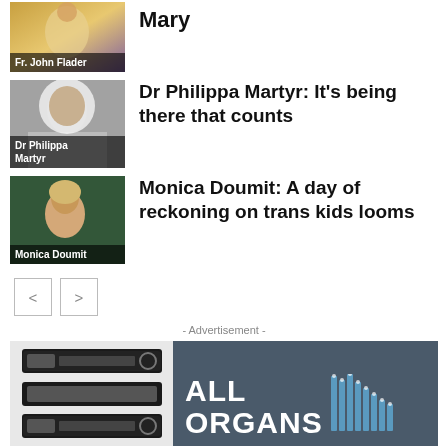[Figure (photo): Thumbnail image with label 'Fr. John Flader' - partial view at top of page]
Mary
[Figure (photo): Thumbnail image of a nun with label 'Dr Philippa Martyr']
Dr Philippa Martyr: It’s being there that counts
[Figure (photo): Thumbnail image of Monica Doumit with label 'Monica Doumit']
Monica Doumit: A day of reckoning on trans kids looms
< >
- Advertisement -
[Figure (photo): Advertisement banner for 'ALL ORGANS' with pipe organ imagery on dark background]